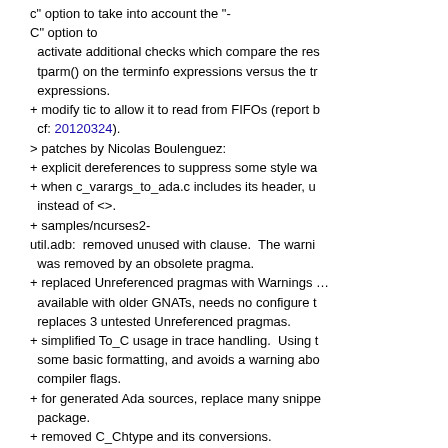c" option to take into account the "-C" option to activate additional checks which compare the results of tparm() on the terminfo expressions versus the tr... expressions.
+ modify tic to allow it to read from FIFOs (report b... cf: 20120324).
> patches by Nicolas Boulenguez:
+ explicit dereferences to suppress some style wa...
+ when c_varargs_to_ada.c includes its header, u... instead of <>.
+ samples/ncurses2-util.adb:  removed unused with clause.  The warni... was removed by an obsolete pragma.
+ replaced Unreferenced pragmas with Warnings ... available with older GNATs, needs no configure t... replaces 3 untested Unreferenced pragmas.
+ simplified To_C usage in trace handling.  Using t... some basic formatting, and avoids a warning abo... compiler flags.
+ for generated Ada sources, replace many snippe... package.
+ removed C_Chtype and its conversions.
+ removed C_AttrType and its conversions.
+ removed conversions between int, Item_Option_...
+ removed int, Field_Option_Set, Item_Option_Se...
+ removed C_TraceType, Attribute_Option_Set co...
+ replaced C.int with direct use of Eti_Error, now e... was used in a case statement, values were teste... to be consecutive anyway.